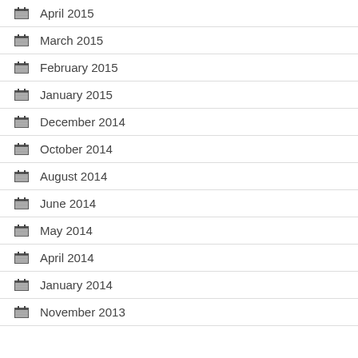April 2015
March 2015
February 2015
January 2015
December 2014
October 2014
August 2014
June 2014
May 2014
April 2014
January 2014
November 2013